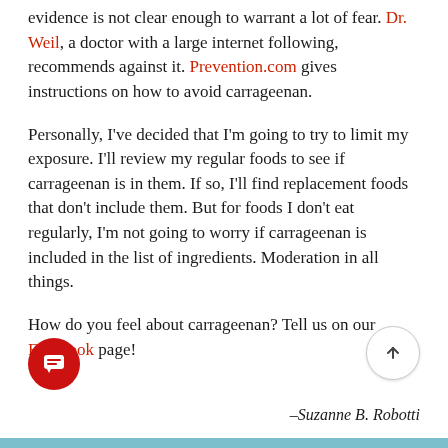evidence is not clear enough to warrant a lot of fear. Dr. Weil, a doctor with a large internet following, recommends against it. Prevention.com gives instructions on how to avoid carrageenan.
Personally, I've decided that I'm going to try to limit my exposure. I'll review my regular foods to see if carrageenan is in them. If so, I'll find replacement foods that don't include them. But for foods I don't eat regularly, I'm not going to worry if carrageenan is included in the list of ingredients. Moderation in all things.
How do you feel about carrageenan? Tell us on our Facebook page!
–Suzanne B. Robotti